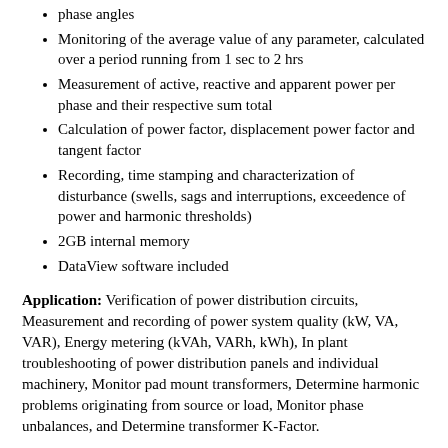phase angles
Monitoring of the average value of any parameter, calculated over a period running from 1 sec to 2 hrs
Measurement of active, reactive and apparent power per phase and their respective sum total
Calculation of power factor, displacement power factor and tangent factor
Recording, time stamping and characterization of disturbance (swells, sags and interruptions, exceedence of power and harmonic thresholds)
2GB internal memory
DataView software included
Application: Verification of power distribution circuits, Measurement and recording of power system quality (kW, VA, VAR), Energy metering (kVAh, VARh, kWh), In plant troubleshooting of power distribution panels and individual machinery, Monitor pad mount transformers, Determine harmonic problems originating from source or load, Monitor phase unbalances, and Determine transformer K-Factor.
Product PDF
Part Number: 2136.27